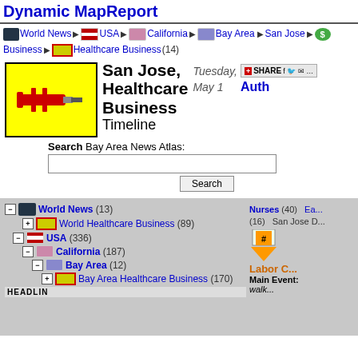Dynamic MapReport
World News > USA > California > Bay Area > San Jose > Business > Healthcare Business (14)
[Figure (logo): Yellow background box with red syringe icon for Healthcare Business]
San Jose, Healthcare Business Timeline  Tuesday, May 1
SHARE
Auth
Search Bay Area News Atlas:
Search
World News (13)
World Healthcare Business (89)
USA (336)
California (187)
Bay Area (12)
Bay Area Healthcare Business (170)
Nurses (40)   Ea... (16)   San Jose D...
Labor C... Main Event: walk...